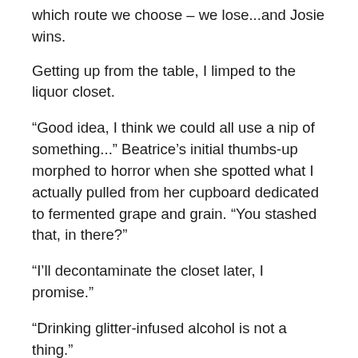which route we choose – we lose...and Josie wins.
Getting up from the table, I limped to the liquor closet.
“Good idea, I think we could all use a nip of something...” Beatrice’s initial thumbs-up morphed to horror when she spotted what I actually pulled from her cupboard dedicated to fermented grape and grain. “You stashed that, in there?”
“I’ll decontaminate the closet later, I promise.”
“Drinking glitter-infused alcohol is not a thing.”
“I don’t know...” Leo countered, clearly succumbing to a wistful reverie. “....Goldschlager is pretty tasty.”
Head down, I bit my lip to keep them from curving